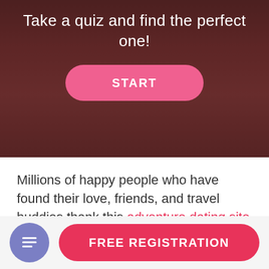[Figure (photo): Hero banner with dark romantic background photo of a couple, with pink START button overlay]
Take a quiz and find the perfect one!
Millions of happy people who have found their love, friends, and travel buddies thank this adventure dating site iLove. If you would also like to join his large community and try to find a soul mate in him, we will tr  tell you everything about this site. iLove Reviews are written for new users to have an overview of the  11% ove dating site will satisfy the needs of both those who are in search of a serious relationship. And
FREE REGISTRATION